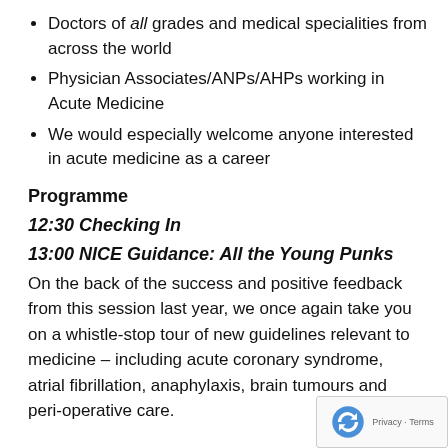Doctors of all grades and medical specialities from across the world
Physician Associates/ANPs/AHPs working in Acute Medicine
We would especially welcome anyone interested in acute medicine as a career
Programme
12:30 Checking In
13:00 NICE Guidance: All the Young Punks
On the back of the success and positive feedback from this session last year, we once again take you on a whistle-stop tour of new guidelines relevant to medicine – including acute coronary syndrome, atrial fibrillation, anaphylaxis, brain tumours and peri-operative care.